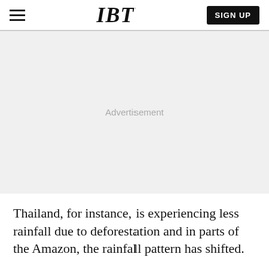IBT | SIGN UP
[Figure (other): Advertisement placeholder area with light gray background and 'Advertisement' label in center]
Thailand, for instance, is experiencing less rainfall due to deforestation and in parts of the Amazon, the rainfall pattern has shifted.